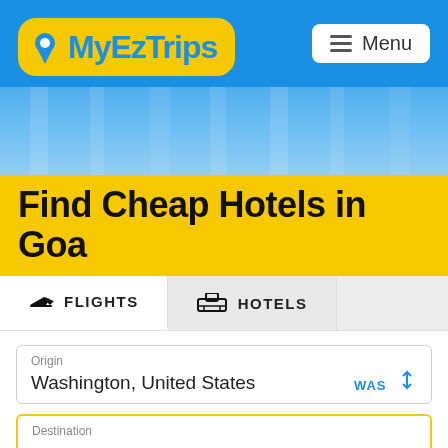[Figure (logo): MyEzTrips logo on blue header background with yellow rounded logo box and menu button]
Find Cheap Hotels in Goa
FLIGHTS   HOTELS
Origin
Washington, United States
WAS
Destination
Depart date
4 September, Sun
Return date
11 September, Sun